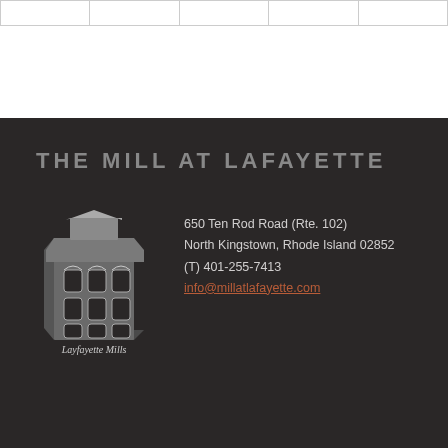|   |   |   |   |   |
THE MILL AT LAFAYETTE
[Figure (logo): Lafayette Mills building logo — a stylized multi-story mill building in gray tones with arched windows, with text 'Layfayette Mills' beneath]
650 Ten Rod Road (Rte. 102)
North Kingstown, Rhode Island 02852
(T) 401-255-7413
info@millatlafayette.com